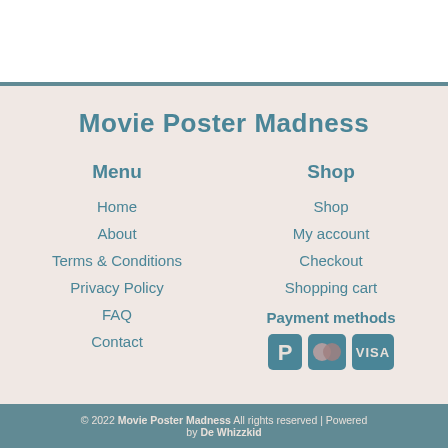Movie Poster Madness
Menu
Home
About
Terms & Conditions
Privacy Policy
FAQ
Contact
Shop
Shop
My account
Checkout
Shopping cart
Payment methods
[Figure (logo): PayPal, Mastercard, and Visa payment method icons]
© 2022 Movie Poster Madness All rights reserved | Powered by De Whizzkid